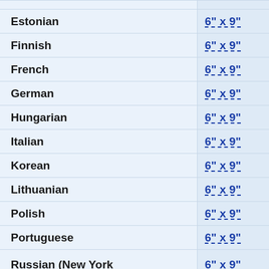| Language | Size |
| --- | --- |
| Estonian | 6" x 9" |
| Finnish | 6" x 9" |
| French | 6" x 9" |
| German | 6" x 9" |
| Hungarian | 6" x 9" |
| Italian | 6" x 9" |
| Korean | 6" x 9" |
| Lithuanian | 6" x 9" |
| Polish | 6" x 9" |
| Portuguese | 6" x 9" |
| Russian (New York | 6" x 9" |